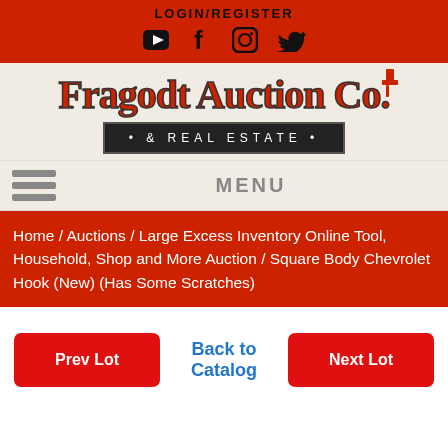LOGIN/REGISTER
[Figure (logo): Social media icons: YouTube, Facebook, Instagram, Twitter]
[Figure (logo): Fragodt Auction Co. & Real Estate logo with gavel icon]
MENU
Home / Auctions / Large Excess Inventory Online Tool, Household, Shop and More Auction / Square Body Chevrolet Hook (New) (Has Some Scratches)
Prev Lot
Back to Catalog
Next Lot